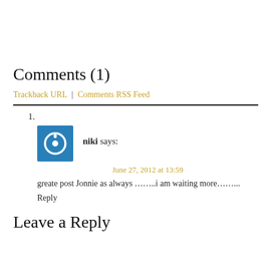Comments (1)
Trackback URL | Comments RSS Feed
1.
niki says:
June 27, 2012 at 13:59
greate post Jonnie as always ……..i am waiting more……..
Reply
Leave a Reply